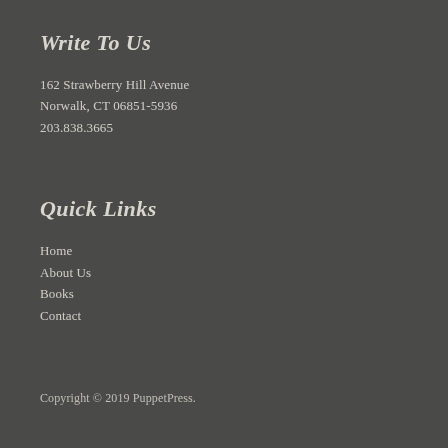Write To Us
162 Strawberry Hill Avenue
Norwalk, CT 06851-5936
203.838.3665
Quick Links
Home
About Us
Books
Contact
Copyright © 2019 PuppetPress.